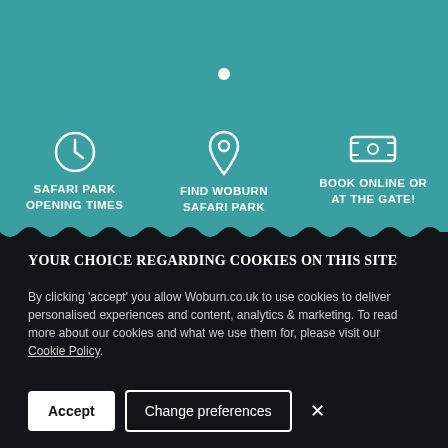[Figure (infographic): Teal background section with white circle dot indicator and three icon blocks: clock icon with 'SAFARI PARK OPENING TIMES', map pin icon with 'FIND WOBURN SAFARI PARK', ticket icon with 'BOOK ONLINE OR AT THE GATE!']
YOUR CHOICE REGARDING COOKIES ON THIS SITE
By clicking 'accept' you allow Woburn.co.uk to use cookies to deliver personalised experiences and content, analytics & marketing. To read more about our cookies and what we use them for, please visit our Cookie Policy.
Accept | Change preferences | ×